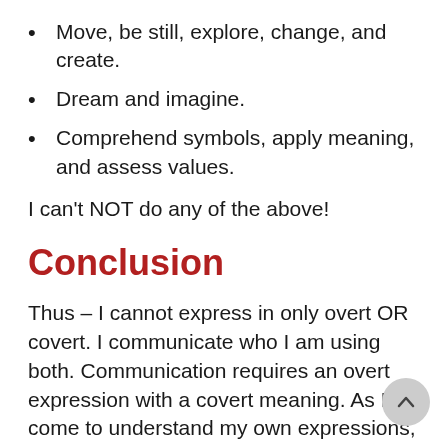Move, be still, explore, change, and create.
Dream and imagine.
Comprehend symbols, apply meaning, and assess values.
I can't NOT do any of the above!
Conclusion
Thus – I cannot express in only overt OR covert. I communicate who I am using both. Communication requires an overt expression with a covert meaning. As I come to understand my own expressions, I can learn to understand those of others as metaphors of ME.